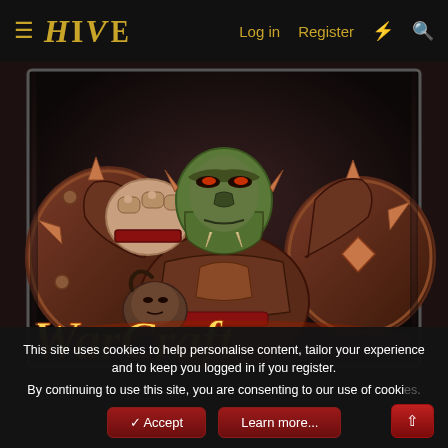≡ HIVE  Log in  Register  ⚡  🔍
[Figure (illustration): Warcraft themed illustration showing an orc warrior in heavy armor with spiked shield, holding a severed head, with the 'WarCraft' logo in golden flame text below]
This site uses cookies to help personalise content, tailor your experience and to keep you logged in if you register.
By continuing to use this site, you are consenting to our use of cookies.
✓ Accept   Learn more...